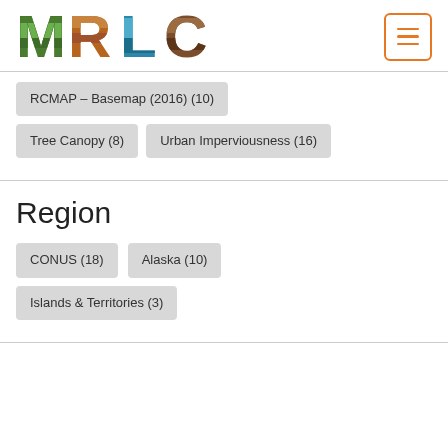[Figure (logo): MRLC logo with nature-themed letters (M=green forest, R=wood texture, L=water/teal, C=brown earth) and hamburger menu button with orange border]
RCMAP – Basemap (2016) (10)
Tree Canopy (8)
Urban Imperviousness (16)
Region
CONUS (18)
Alaska (10)
Islands & Territories (3)